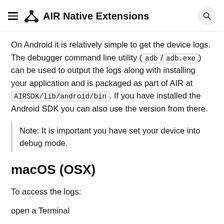AIR Native Extensions
On Android it is relatively simple to get the device logs. The debugger command line utility (adb/adb.exe) can be used to output the logs along with installing your application and is packaged as part of AIR at AIRSDK/lib/android/bin. If you have installed the Android SDK you can also use the version from there.
Note: It is important you have set your device into debug mode.
macOS (OSX)
To access the logs:
open a Terminal